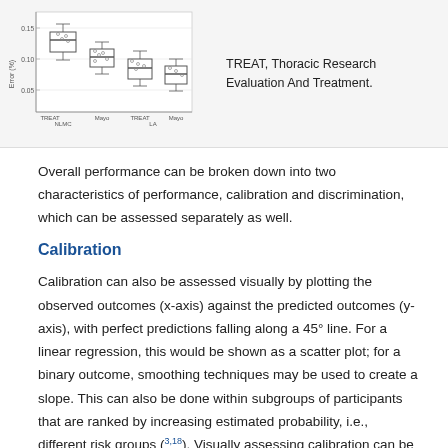[Figure (other): Box plot figure partially visible at top of page showing TREAT and Mayo groups for NLMC and LA datasets]
TREAT, Thoracic Research Evaluation And Treatment.
Overall performance can be broken down into two characteristics of performance, calibration and discrimination, which can be assessed separately as well.
Calibration
Calibration can also be assessed visually by plotting the observed outcomes (x-axis) against the predicted outcomes (y-axis), with perfect predictions falling along a 45° line. For a linear regression, this would be shown as a scatter plot; for a binary outcome, smoothing techniques may be used to create a slope. This can also be done within subgroups of participants that are ranked by increasing estimated probability, i.e., different risk groups (3,18). Visually assessing calibration can be useful as a predictive model may not perform equally across all risk groups.